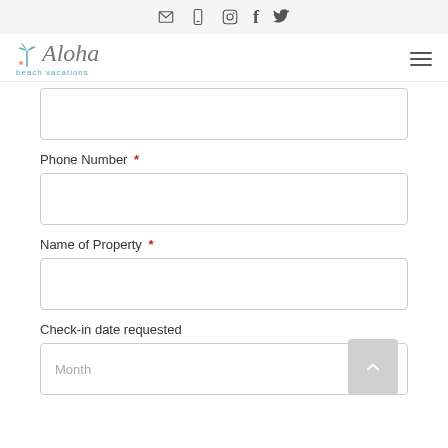Social media icons: email, phone, instagram, facebook, twitter
[Figure (logo): Aloha Beach Vacations logo with palm tree icon and cursive text]
Phone Number *
Name of Property *
Check-in date requested